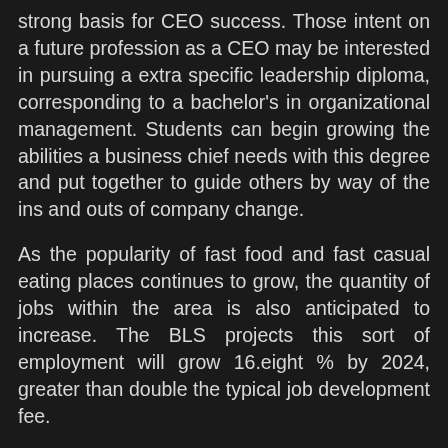strong basis for CEO success. Those intent on a future profession as a CEO may be interested in pursuing a extra specific leadership diploma, corresponding to a bachelor's in organizational management. Students can begin growing the abilities a business chief needs with this degree and put together to guide others by way of the ins and outs of company change.
As the popularity of fast food and fast casual eating places continues to grow, the quantity of jobs within the area is also anticipated to increase. The BLS projects this sort of employment will grow 16.eight % by 2024, greater than double the typical job development fee.
A career in gross sales administration relies on first gaining sales expertise and being good at it. For